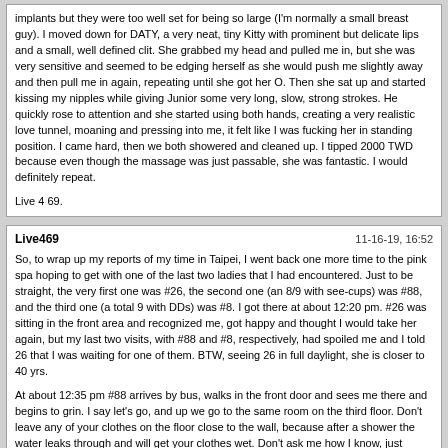implants but they were too well set for being so large (I'm normally a small breast guy). I moved down for DATY, a very neat, tiny Kitty with prominent but delicate lips and a small, well defined clit. She grabbed my head and pulled me in, but she was very sensitive and seemed to be edging herself as she would push me slightly away and then pull me in again, repeating until she got her O. Then she sat up and started kissing my nipples while giving Junior some very long, slow, strong strokes. He quickly rose to attention and she started using both hands, creating a very realistic love tunnel, moaning and pressing into me, it felt like I was fucking her in standing position. I came hard, then we both showered and cleaned up. I tipped 2000 TWD because even though the massage was just passable, she was fantastic. I would definitely repeat.

Live 4 69.
Live469 | 11-16-19, 16:52
So, to wrap up my reports of my time in Taipei, I went back one more time to the pink spa hoping to get with one of the last two ladies that I had encountered. Just to be straight, the very first one was #26, the second one (an 8/9 with see-cups) was #88, and the third one (a total 9 with DDs) was #8. I got there at about 12:20 pm. #26 was sitting in the front area and recognized me, got happy and thought I would take her again, but my last two visits, with #88 and #8, respectively, had spoiled me and I told 26 that I was waiting for one of them. BTW, seeing 26 in full daylight, she is closer to 40 yrs.
At about 12:35 pm #88 arrives by bus, walks in the front door and sees me there and begins to grin. I say let's go, and up we go to the same room on the third floor. Don't leave any of your clothes on the floor close to the wall, because after a shower the water leaks through and will get your clothes wet. Don't ask me how I know, just imagine where I left my socks.
I don't want to go into great detail about this time with #88, but suffice it to say that although she is not quite as hot looking as #8, she is damn fine, gives a better massage, and this time just hit it out of the park with her performance. She was very reluctant to let me DATY the first time, but this time she couldn't wait to get out of her clothes and on the table. I think she must not have ever had someone eat her pussy before, but she loves it now! Sopping wet, came at